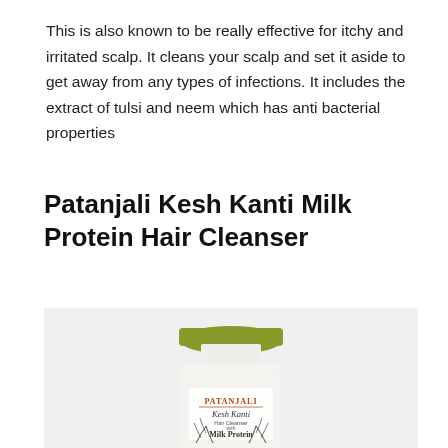This is also known to be really effective for itchy and irritated scalp. It cleans your scalp and set it aside to get away from any types of infections. It includes the extract of tulsi and neem which has anti bacterial properties
Patanjali Kesh Kanti Milk Protein Hair Cleanser
[Figure (photo): A white bottle of Patanjali Kesh Kanti Milk Protein Hair Cleanser with an olive/green cap, featuring the Patanjali brand logo and product name with herb illustrations on the bottle, placed on a light grey background.]